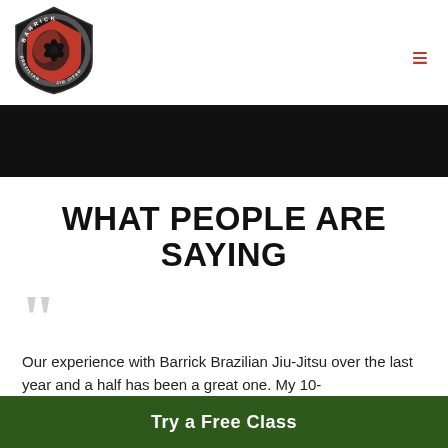[Figure (logo): Barrick Brazilian Jiu-Jitsu circular shield logo with red and black design]
≡
[Figure (photo): Black hero banner image]
WHAT PEOPLE ARE SAYING
❝
Our experience with Barrick Brazilian Jiu-Jitsu over the last year and a half has been a great one. My 10-
Try a Free Class